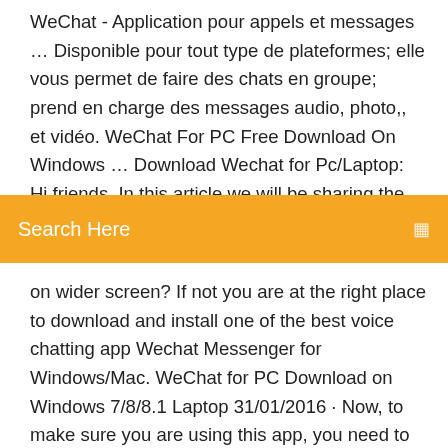WeChat - Application pour appels et messages … Disponible pour tout type de plateformes; elle vous permet de faire des chats en groupe; prend en charge des messages audio, photo,, et vidéo. WeChat For PC Free Download On Windows … Download Wechat for Pc/Laptop: Hi friends, In this article we will be sharing the procedure to download Wechat Messenger
[Figure (screenshot): Orange search bar with white text 'Search Here' and a small search icon on the right]
on wider screen? If not you are at the right place to download and install one of the best voice chatting app Wechat Messenger for Windows/Mac. WeChat for PC Download on Windows 7/8/8.1 Laptop 31/01/2016 · Now, to make sure you are using this app, you need to go through this guide over here, titled, how to download WeChat for PC. Well, the main focus of this guide will be to help you install WeChat on computer/laptop and show you the exact way of using it online. But, I am also going to offer a bunch of other related information along with a